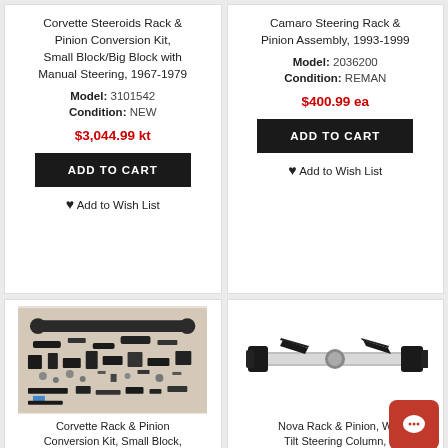Corvette Steeroids Rack & Pinion Conversion Kit, Small Block/Big Block with Manual Steering, 1967-1979
Model: 3101542
Condition: NEW
$3,044.99 kt
ADD TO CART
Add to Wish List
Camaro Steering Rack & Pinion Assembly, 1993-1999
Model: 2036200
Condition: REMAN
$400.99 ea
ADD TO CART
Add to Wish List
[Figure (photo): Corvette rack and pinion conversion kit parts laid out, showing steering rack assembly and various hardware components]
Corvette Rack & Pinion Conversion Kit, Small Block,
[Figure (photo): Nova rack and pinion steering assembly shown as a silver horizontal bar with black end components]
Nova Rack & Pinion, W Tilt Steering Column,